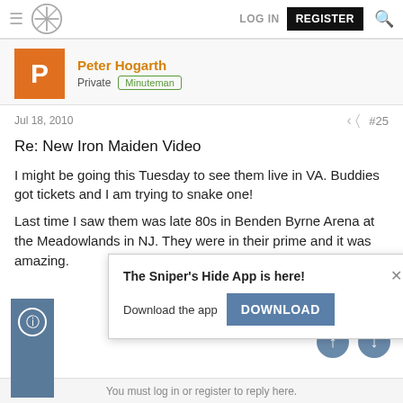≡ [logo] LOG IN REGISTER [search]
Peter Hogarth
Private Minuteman
Jul 18, 2010  #25
Re: New Iron Maiden Video
I might be going this Tuesday to see them live in VA. Buddies got tickets and I am trying to snake one!
Last time I saw them was late 80s in Benden Byrne Arena at the Meadowlands in NJ. They were in their prime and it was amazing.
[Figure (screenshot): Popup notification: 'The Sniper's Hide App is here!' with a DOWNLOAD button and close X]
You must log in or register to reply here.